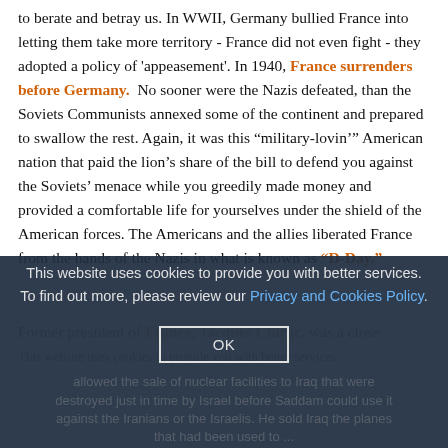to berate and betray us. In WWII, Germany bullied France into letting them take more territory - France did not even fight - they adopted a policy of 'appeasement'. In 1940, France surrenders before Germany. No sooner were the Nazis defeated, than the Soviets Communists annexed some of the continent and prepared to swallow the rest. Again, it was this “military-lovin’” American nation that paid the lion’s share of the bill to defend you against the Soviets’ menace while you greedily made money and provided a comfortable life for yourselves under the shield of the American forces. The Americans and the allies liberated France from the hands of the Nazis in what is known as “D-Day.”
Former president of France, Jacques Chirac, was a close ... allowed the sale of nuclear facilities to Iraq that were destroyed just in time by Israel before Saddam could use it against the Iranians or the Israelis. He sold Iraq the planes that had been used to ...
This website uses cookies to provide you with better services. To find out more, please review our Privacy and Cookies Policy.